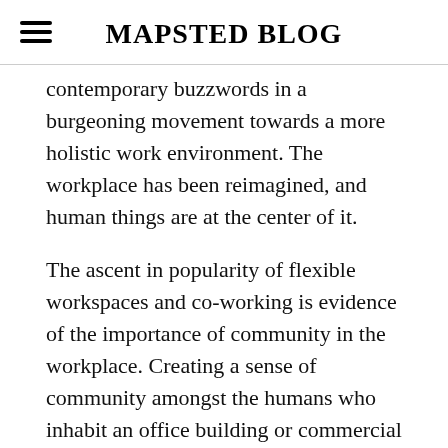MAPSTED BLOG
contemporary buzzwords in a burgeoning movement towards a more holistic work environment. The workplace has been reimagined, and human things are at the center of it.
The ascent in popularity of flexible workspaces and co-working is evidence of the importance of community in the workplace. Creating a sense of community amongst the humans who inhabit an office building or commercial complex on a basis is one of the fundamentals of a workplace that caters to the whole person. It's